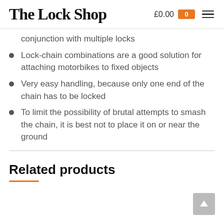The Lock Shop £0.00 0
conjunction with multiple locks
Lock-chain combinations are a good solution for attaching motorbikes to fixed objects
Very easy handling, because only one end of the chain has to be locked
To limit the possibility of brutal attempts to smash the chain, it is best not to place it on or near the ground
Related products